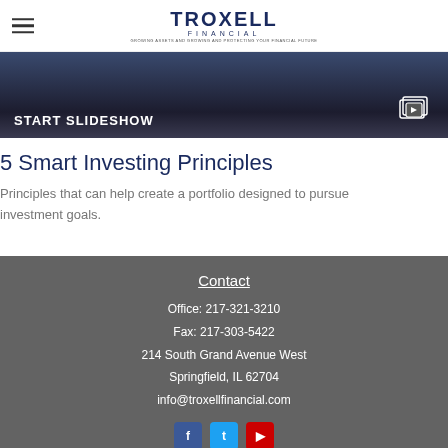TROXELL FINANCIAL
[Figure (screenshot): Dark banner with START SLIDESHOW text and slideshow icon on right]
5 Smart Investing Principles
Principles that can help create a portfolio designed to pursue investment goals.
Contact
Office: 217-321-3210
Fax: 217-303-5422
214 South Grand Avenue West
Springfield, IL 62704
info@troxellfinancial.com